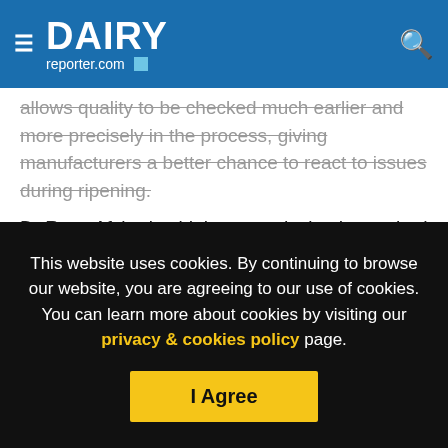DAIRY reporter.com
allows quality to be checked much earlier and more precisely in the process, giving manufacturers a better chance to react to issues during ripening.
Dr Roya Afshari said the team devised a method to expose cheese's biomarkers - or fingerprints - to show unique combinations of things like chemicals and milk-derived components that make up the perfect block.
"Once we know the chemical profile of a successful cheese, we
This website uses cookies. By continuing to browse our website, you are agreeing to our use of cookies. You can learn more about cookies by visiting our privacy & cookies policy page.
I Agree